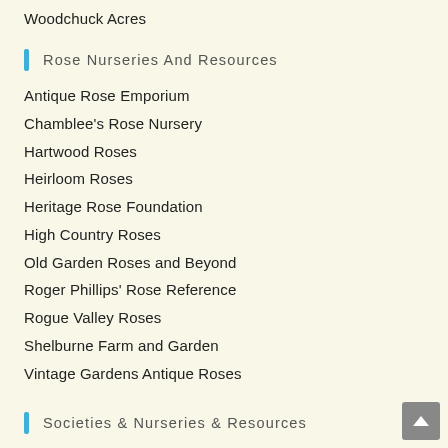Woodchuck Acres
Rose Nurseries And Resources
Antique Rose Emporium
Chamblee's Rose Nursery
Hartwood Roses
Heirloom Roses
Heritage Rose Foundation
High Country Roses
Old Garden Roses and Beyond
Roger Phillips' Rose Reference
Rogue Valley Roses
Shelburne Farm and Garden
Vintage Gardens Antique Roses
Societies & Nurseries & Resources
American Horticultural Society